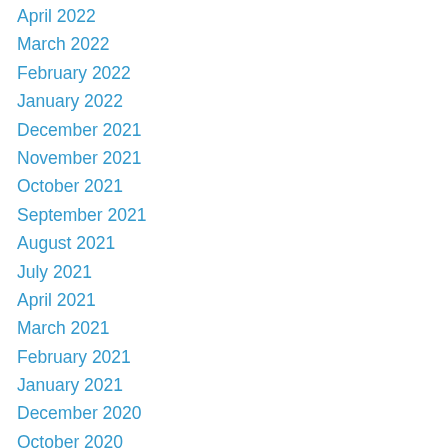April 2022
March 2022
February 2022
January 2022
December 2021
November 2021
October 2021
September 2021
August 2021
July 2021
April 2021
March 2021
February 2021
January 2021
December 2020
October 2020
September 2020
August 2020
July 2020
June 2020